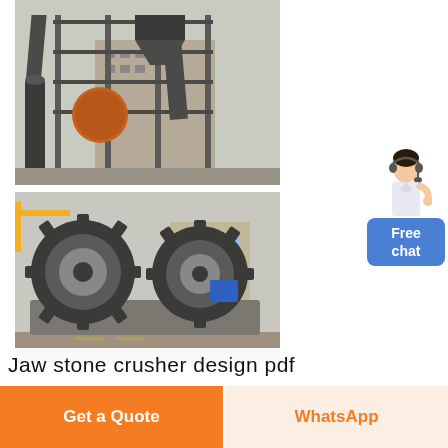[Figure (photo): Industrial cement plant or mineral processing facility with tall steel framework structures, conveyor belts, silos, dust collectors, and large spherical ball mill equipment. Gray/brown industrial building in background.]
[Figure (photo): Large sand washing machine with two toothed/gear-shaped rotating drum wheels (dark gray), sitting in a rectangular trough/basin on a concrete yard. Blue machinery visible in background along with a multi-story building.]
[Figure (illustration): Chat widget showing a female customer service avatar in white blouse with headset, above a blue rounded button labeled 'Free chat']
Jaw stone crusher design pdf
Get a Quote
WhatsApp